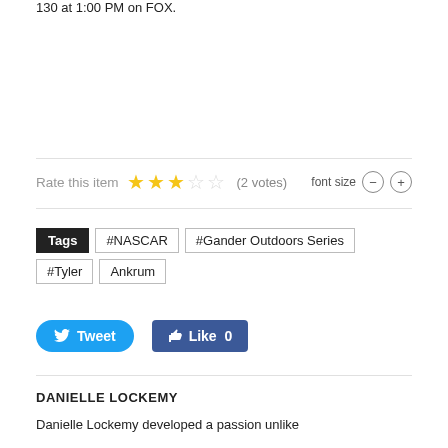130 at 1:00 PM on FOX.
Rate this item ★★★☆☆ (2 votes)   font size − +
Tags  #NASCAR  #Gander Outdoors Series  #Tyler Ankrum
Tweet   Like 0
DANIELLE LOCKEMY
Danielle Lockemy developed a passion unlike